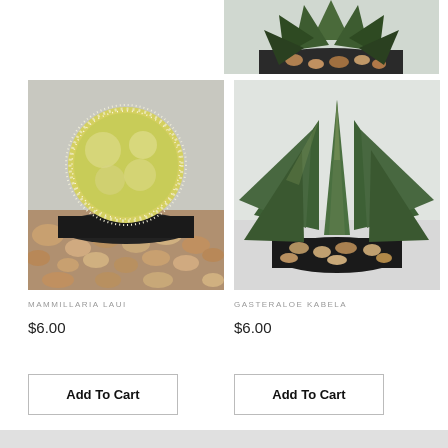[Figure (photo): Partial top view of a succulent plant in a dark pot with small stones, cropped at top of page]
[Figure (photo): Mammillaria Laui cactus - round fluffy white-spined cactus in a dark pot surrounded by smooth stones]
[Figure (photo): Gasteraloe Kabela - aloe-like succulent with long pointed green leaves in a dark pot with small stones]
MAMMILLARIA LAUI
$6.00
GASTERALOE KABELA
$6.00
Add To Cart
Add To Cart